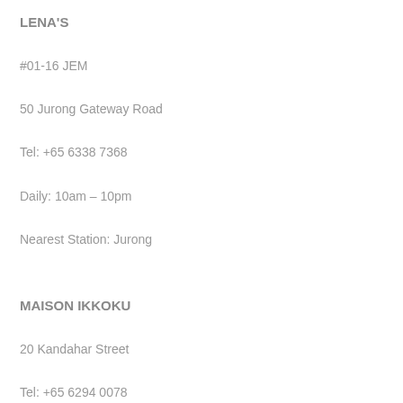LENA'S
#01-16 JEM
50 Jurong Gateway Road
Tel: +65 6338 7368
Daily: 10am – 10pm
Nearest Station: Jurong
MAISON IKKOKU
20 Kandahar Street
Tel: +65 6294 0078